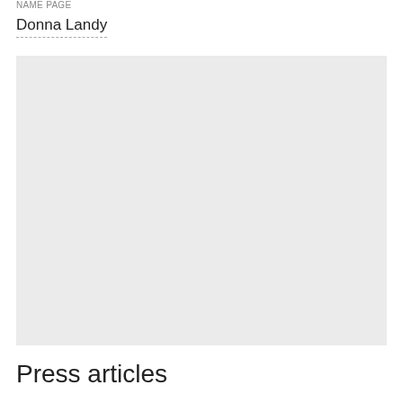NAME PAGE
Donna Landy
[Figure (photo): Large light grey rectangular image placeholder area]
Press articles